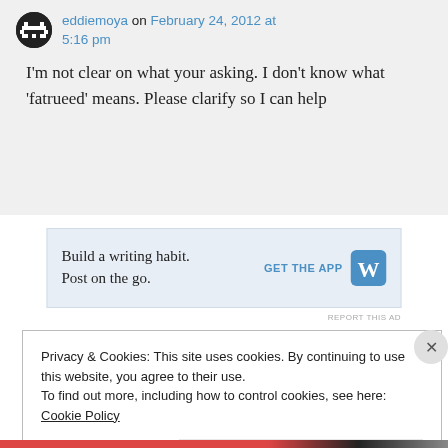eddiemoya on February 24, 2012 at 5:16 pm
I'm not clear on what your asking. I don't know what 'fatrueed' means. Please clarify so I can help
[Figure (infographic): WordPress app advertisement: 'Build a writing habit. Post on the go.' with GET THE APP button and WordPress logo]
REPORT THIS AD
Privacy & Cookies: This site uses cookies. By continuing to use this website, you agree to their use.
To find out more, including how to control cookies, see here: Cookie Policy
Close and accept